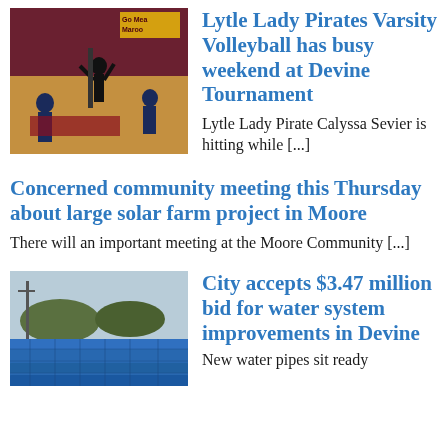[Figure (photo): Volleyball players on court during a game, banner reading Go Mea Maroo in background]
Lytle Lady Pirates Varsity Volleyball has busy weekend at Devine Tournament
Lytle Lady Pirate Calyssa Sevier is hitting while [...]
Concerned community meeting this Thursday about large solar farm project in Moore
There will an important meeting at the Moore Community [...]
[Figure (photo): Blue water pipes stacked outdoors]
City accepts $3.47 million bid for water system improvements in Devine
New water pipes sit ready